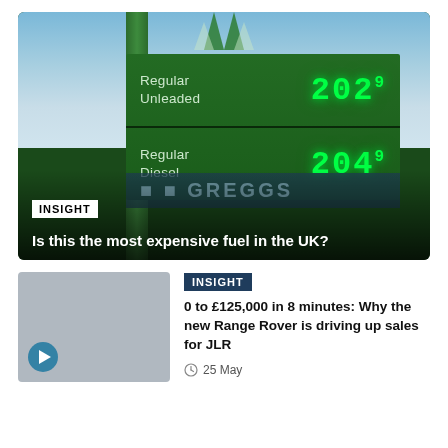[Figure (photo): Photo of a BP petrol station price sign showing Regular Unleaded 202.9 and Regular Diesel 204.9, with a Greggs sign partially visible below. Dark green sign board with digital price displays.]
INSIGHT
Is this the most expensive fuel in the UK?
[Figure (photo): Thumbnail image placeholder (grey) with a play button icon, for a video about Range Rover and JLR sales.]
INSIGHT
0 to £125,000 in 8 minutes: Why the new Range Rover is driving up sales for JLR
25 May